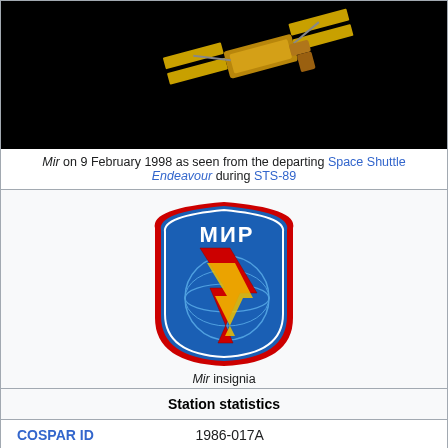[Figure (photo): Photograph of the Mir space station on a black background, as seen from the departing Space Shuttle Endeavour on 9 February 1998]
Mir on 9 February 1998 as seen from the departing Space Shuttle Endeavour during STS-89
[Figure (logo): Mir insignia: a blue shield-shaped badge with red border, featuring the Cyrillic text МИР at top and two red and yellow lightning bolts crossing a globe]
Mir insignia
Station statistics
|  |  |
| --- | --- |
| COSPAR ID | 1986-017A |
| Call sign | Mir |
| Crew | 3 |
| Launch | 20 February 1986 – 23 April 1996 |